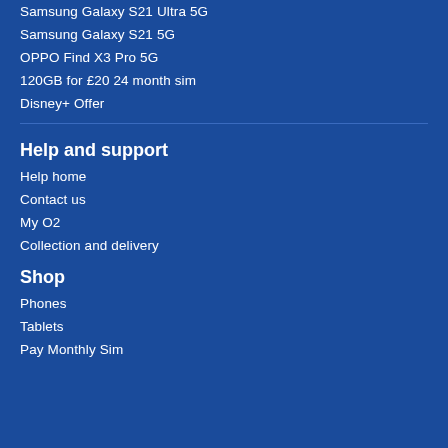Samsung Galaxy S21 Ultra 5G
Samsung Galaxy S21 5G
OPPO Find X3 Pro 5G
120GB for £20 24 month sim
Disney+ Offer
Help and support
Help home
Contact us
My O2
Collection and delivery
Shop
Phones
Tablets
Pay Monthly Sim